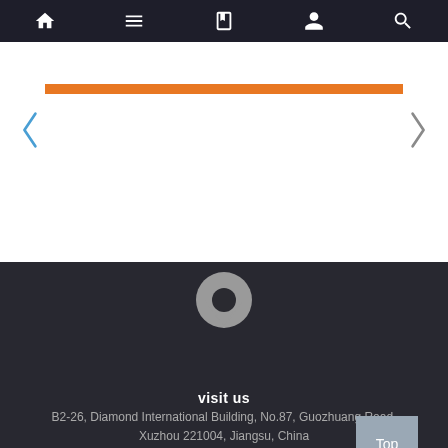Navigation bar with home, menu, book, person, and search icons
[Figure (screenshot): Orange horizontal bar at top of content area]
[Figure (illustration): Left chevron/arrow navigation control in blue]
[Figure (illustration): Right chevron/arrow navigation control in gray]
[Figure (illustration): Gray map pin / location icon]
visit us
B2-26, Diamond International Building, No.87, Guozhuang Road, Xuzhou 221004, Jiangsu, China
[Figure (illustration): Gray smartphone / mobile phone icon]
call us
0086-18005210766
[Figure (other): Top button - gray/blue square button with text 'Top']